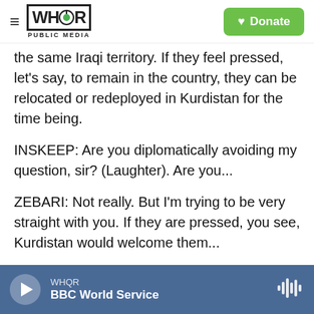WHQR PUBLIC MEDIA | Donate
the same Iraqi territory. If they feel pressed, let's say, to remain in the country, they can be relocated or redeployed in Kurdistan for the time being.
INSKEEP: Are you diplomatically avoiding my question, sir? (Laughter). Are you...
ZEBARI: Not really. But I'm trying to be very straight with you. If they are pressed, you see, Kurdistan would welcome them...
INSKEEP: I see.
WHQR | BBC World Service